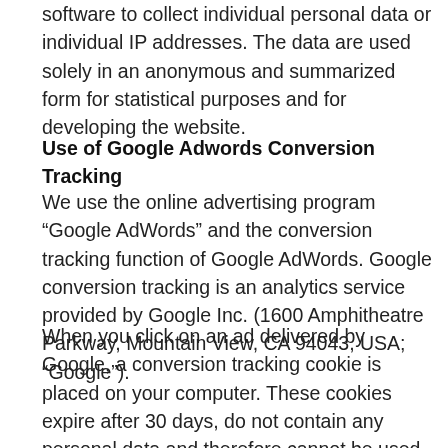software to collect individual personal data or individual IP addresses. The data are used solely in an anonymous and summarized form for statistical purposes and for developing the website.
Use of Google Adwords Conversion Tracking
We use the online advertising program “Google AdWords” and the conversion tracking function of Google AdWords. Google conversion tracking is an analytics service provided by Google Inc. (1600 Amphitheatre Parkway, Mountain View, CA 94043, USA; “Google”).
When you click on an ad delivered by Google, a conversion tracking cookie is placed on your computer. These cookies expire after 30 days, do not contain any personal data and therefore cannot be used to identify you personally. If you visit certain pages on our website and the cookie has not